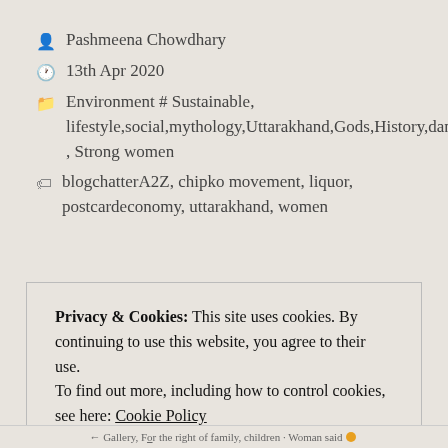Pashmeena Chowdhary
13th Apr 2020
Environment # Sustainable, lifestyle,social,mythology,Uttarakhand,Gods,History,dances,food, Strong women
blogchatterA2Z, chipko movement, liquor, postcardeconomy, uttarakhand, women
Privacy & Cookies: This site uses cookies. By continuing to use this website, you agree to their use. To find out more, including how to control cookies, see here: Cookie Policy
Close and accept